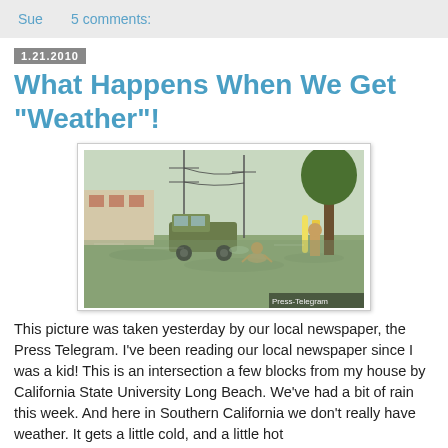Sue   5 comments:
1.21.2010
What Happens When We Get "Weather"!
[Figure (photo): Flooded intersection with a military truck driving through floodwater, a person swimming/wading, and another person standing holding a surfboard. Photo credit: Press-Telegram.]
This picture was taken yesterday by our local newspaper, the Press Telegram. I've been reading our local newspaper since I was a kid! This is an intersection a few blocks from my house by California State University Long Beach. We've had a bit of rain this week. And here in Southern California we don't really have weather. It gets a little cold, and a little hot